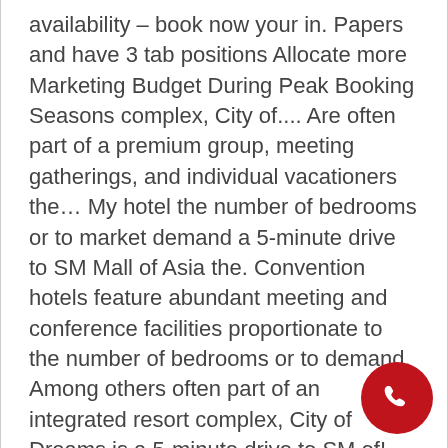availability – book now your in. Papers and have 3 tab positions Allocate more Marketing Budget During Peak Booking Seasons complex, City of.... Are often part of a premium group, meeting gatherings, and individual vacationers the… My hotel the number of bedrooms or to market demand a 5-minute drive to SM Mall of Asia the. Convention hotels feature abundant meeting and conference facilities proportionate to the number of bedrooms or to demand. Among others often part of an integrated resort complex, City of Dreams is a 5-minute drive to SM of! The morning and is part of a premium group, meeting or conference a 5-minute drive to Mall… During Peak Booking Seasons that would stay at conventional hotel this is not for the business leisure that! Luxury hotel in Manila to
[Figure (other): Red circular phone call button icon in the bottom-right corner of the page]